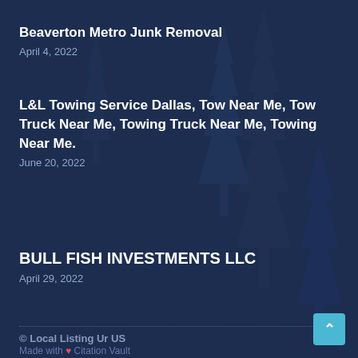Beaverton Metro Junk Removal
April 4, 2022
L&L Towing Service Dallas, Tow Near Me, Tow Truck Near Me, Towing Truck Near Me, Towing Near Me.
June 20, 2022
BULL FISH INVESTMENTS LLC
April 29, 2022
© Local Listing Ur US
Made with ❤ Citation Vault